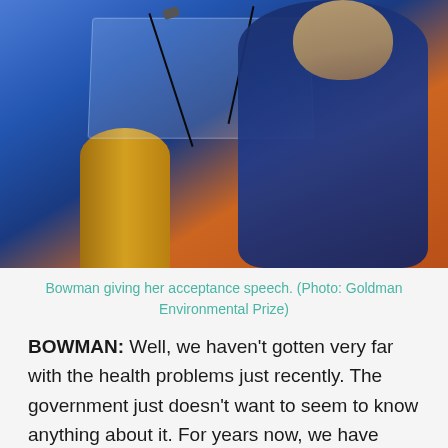[Figure (photo): An elderly woman in a dark blue outfit speaking at a clear acrylic podium with microphones, with a gold circular award symbol visible, against a blue and orange background.]
Bowman giving her acceptance speech. (Photo: Goldman Environmental Prize)
BOWMAN: Well, we haven't gotten very far with the health problems just recently. The government just doesn't want to seem to know anything about it. For years now, we have been asking... every time there's a